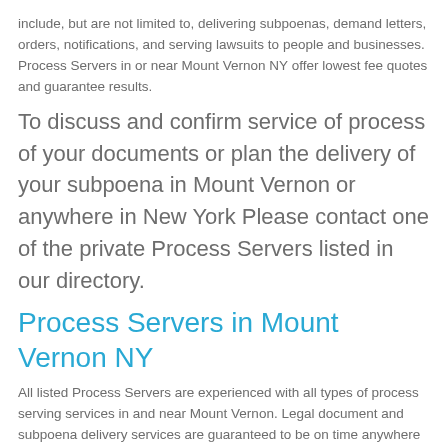include, but are not limited to, delivering subpoenas, demand letters, orders, notifications, and serving lawsuits to people and businesses. Process Servers in or near Mount Vernon NY offer lowest fee quotes and guarantee results.
To discuss and confirm service of process of your documents or plan the delivery of your subpoena in Mount Vernon or anywhere in New York Please contact one of the private Process Servers listed in our directory.
Process Servers in Mount Vernon NY
All listed Process Servers are experienced with all types of process serving services in and near Mount Vernon. Legal document and subpoena delivery services are guaranteed to be on time anywhere in Westchester County, New York.